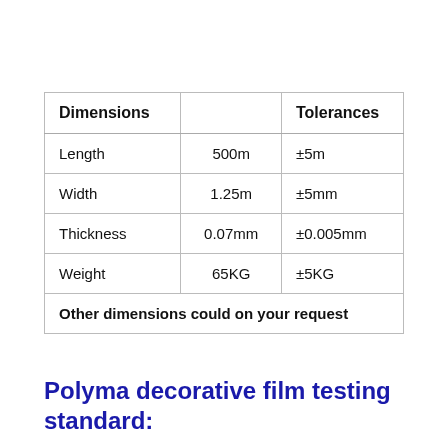| Dimensions |  | Tolerances |
| --- | --- | --- |
| Length | 500m | ±5m |
| Width | 1.25m | ±5mm |
| Thickness | 0.07mm | ±0.005mm |
| Weight | 65KG | ±5KG |
| Other dimensions could on your request |  |  |
Polyma decorative film testing standard: